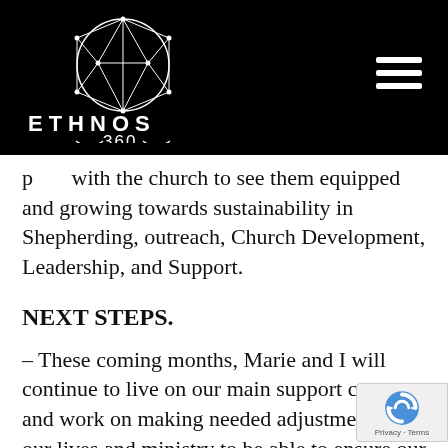ETHNOS 360
p[artnership] with the church to see them equipped and growing towards sustainability in Shepherding, outreach, Church Development, Leadership, and Support.
NEXT STEPS.
– These coming months, Marie and I will continue to live on our main support center and work on making needed adjustments in our lives and ministry to be able to ensure our [walk] with the Lord stays our main focus and se[ek] Him for how the partnership with the National